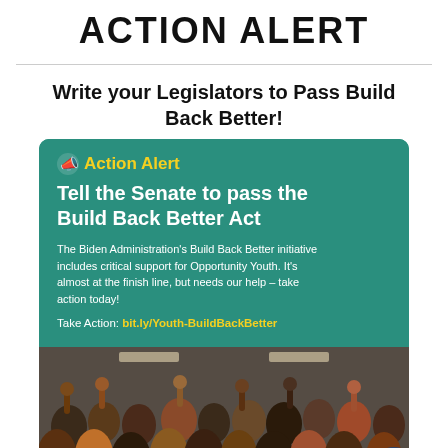ACTION ALERT
Write your Legislators to Pass Build Back Better!
[Figure (infographic): Action Alert infographic with teal/green background. Header: megaphone icon + 'Action Alert' in yellow. Headline: 'Tell the Senate to pass the Build Back Better Act' in white bold. Body text: 'The Biden Administration's Build Back Better initiative includes critical support for Opportunity Youth. It's almost at the finish line, but needs our help – take action today!' Call to action: 'Take Action: bit.ly/Youth-BuildBackBetter' in yellow. Bottom half shows a photograph of a diverse group of people raising their fists in celebration indoors.]